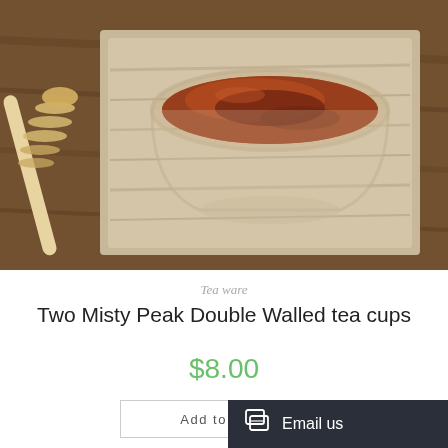[Figure (photo): A glass cup filled with amber tea/honey sitting on a rustic wooden board, with a honey dipper resting beside it on a wooden surface.]
Tea ware
Two Misty Peak Double Walled tea cups
$8.00
Add to cart
Email us